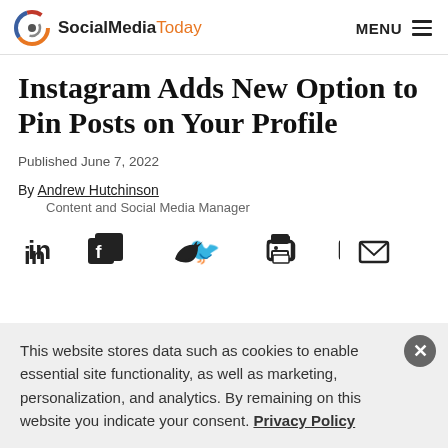SocialMediaToday  MENU
Instagram Adds New Option to Pin Posts on Your Profile
Published June 7, 2022
By Andrew Hutchinson
Content and Social Media Manager
[Figure (infographic): Social sharing icons row: LinkedIn, Facebook, Twitter, Print, Email]
This website stores data such as cookies to enable essential site functionality, as well as marketing, personalization, and analytics. By remaining on this website you indicate your consent. Privacy Policy